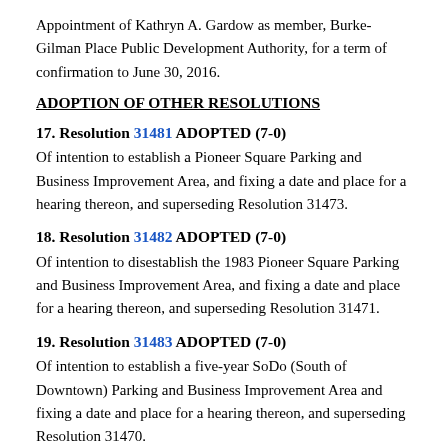Appointment of Kathryn A. Gardow as member, Burke-Gilman Place Public Development Authority, for a term of confirmation to June 30, 2016.
ADOPTION OF OTHER RESOLUTIONS
17. Resolution 31481 ADOPTED (7-0)
Of intention to establish a Pioneer Square Parking and Business Improvement Area, and fixing a date and place for a hearing thereon, and superseding Resolution 31473.
18. Resolution 31482 ADOPTED (7-0)
Of intention to disestablish the 1983 Pioneer Square Parking and Business Improvement Area, and fixing a date and place for a hearing thereon, and superseding Resolution 31471.
19. Resolution 31483 ADOPTED (7-0)
Of intention to establish a five-year SoDo (South of Downtown) Parking and Business Improvement Area and fixing a date and place for a hearing thereon, and superseding Resolution 31470.